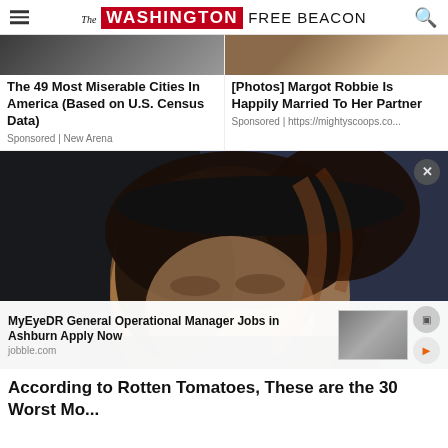The Washington Free Beacon
The 49 Most Miserable Cities In America (Based on U.S. Census Data)
Sponsored | New Arena
[Photos] Margot Robbie Is Happily Married To Her Partner
Sponsored | https://mightyscoops.co...
[Figure (photo): Close-up portrait photo of a young woman with wavy auburn hair wearing a black cap, against a blue sky background]
MyEyeDR General Operational Manager Jobs in Ashburn Apply Now
jobble.com
According to Rotten Tomatoes, These are the 30 Worst Movies of All Time